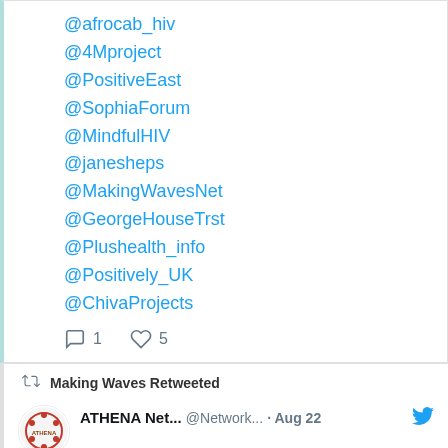@afrocab_hiv
@4Mproject
@PositiveEast
@SophiaForum
@MindfulHIV
@janesheps
@MakingWavesNet
@GeorgeHouseTrst
@Plushealth_info
@Positively_UK
@ChivaProjects
1 reply, 5 likes
Making Waves Retweeted
ATHENA Net... @Network... · Aug 22
When untreated Female Genital Schistosomiasis (FGS) can cause infertility, ectopic pregnancy, genital ulcers &, an increased risk of HIV & human papillomavirus infections.
#WhatGirlsWant #WhatWomenWant